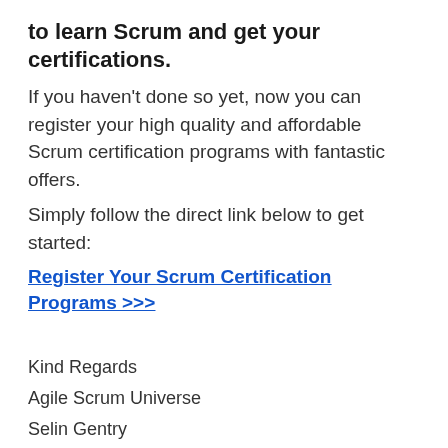to learn Scrum and get your certifications.
If you haven't done so yet, now you can register your high quality and affordable Scrum certification programs with fantastic offers.
Simply follow the direct link below to get started:
Register Your Scrum Certification Programs >>>
Kind Regards
Agile Scrum Universe
Selin Gentry